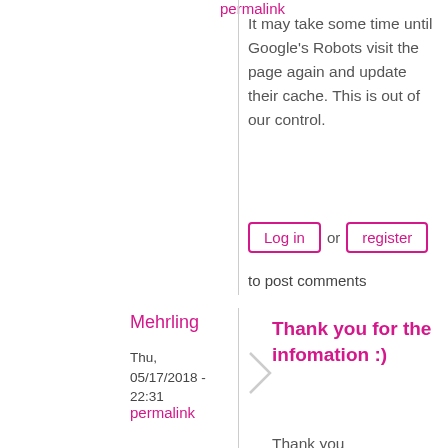permalink
It may take some time until Google's Robots visit the page again and update their cache. This is out of our control.
Log in or register to post comments
Mehrling
Thu, 05/17/2018 - 22:31
permalink
Thank you for the infomation :)
Thank you